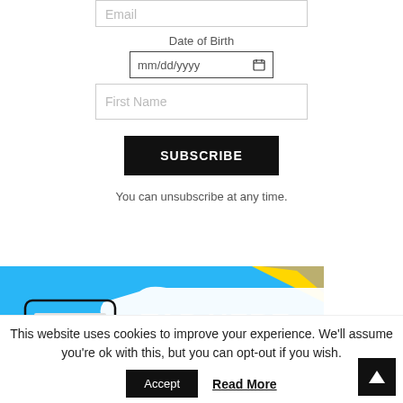Email
Date of Birth
mm/dd/yyyy
First Name
SUBSCRIBE
You can unsubscribe at any time.
[Figure (illustration): Blue banner with 'TAP HERE' text in white, with yellow and grey accents and a phone device illustration]
This website uses cookies to improve your experience. We'll assume you're ok with this, but you can opt-out if you wish.
Accept
Read More